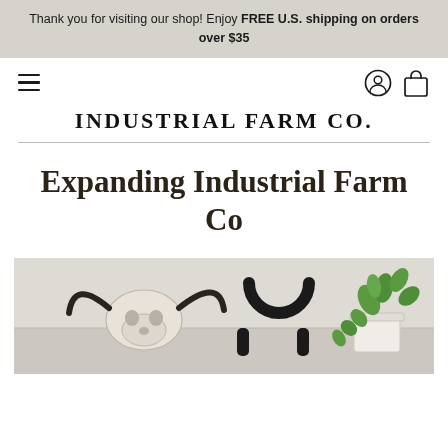Thank you for visiting our shop! Enjoy FREE U.S. shipping on orders over $35
[Figure (screenshot): Navigation bar with hamburger menu icon on left, and account/bag icons on right]
INDUSTRIAL FARM CO.
Expanding Industrial Farm Co
[Figure (photo): Decorative farm items: a longhorn skull, a black horseshoe, and a white pot with green trailing plant on a light background]